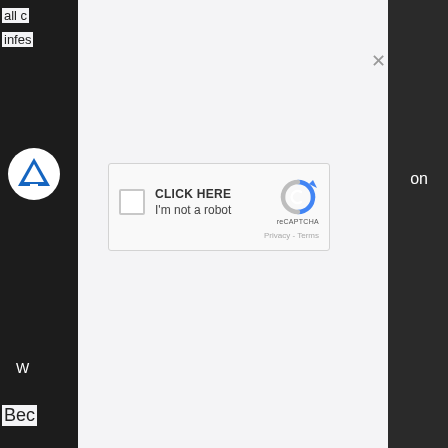all c
infes
[Figure (screenshot): A modal/overlay dialog on a dark website background showing a reCAPTCHA widget with a checkbox labeled 'CLICK HERE / I'm not a robot' and the reCAPTCHA logo. A close button (×) is visible at the top right of the modal.]
on
W
Bec